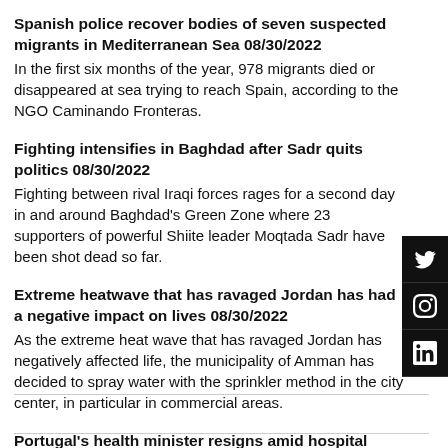Spanish police recover bodies of seven suspected migrants in Mediterranean Sea 08/30/2022
In the first six months of the year, 978 migrants died or disappeared at sea trying to reach Spain, according to the NGO Caminando Fronteras.
Fighting intensifies in Baghdad after Sadr quits politics 08/30/2022
Fighting between rival Iraqi forces rages for a second day in and around Baghdad's Green Zone where 23 supporters of powerful Shiite leader Moqtada Sadr have been shot dead so far.
Extreme heatwave that has ravaged Jordan has had a negative impact on lives 08/30/2022
As the extreme heat wave that has ravaged Jordan has negatively affected life, the municipality of Amman has decided to spray water with the sprinkler method in the city center, in particular in commercial areas.
Portugal's health minister resigns amid hospital staff shortage crisis 08/30/2022
Marta Temido has been broadly criticised over her handling of recent staffing problems at public hospitals.